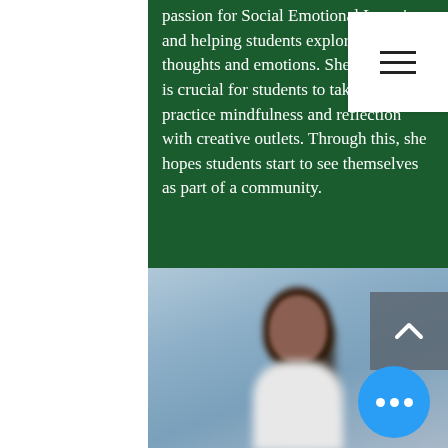passion for Social Emotional Learning and helping students explore their thoughts and emotions. She believes it is crucial for students to take time to practice mindfulness and reflection with creative outlets. Through this, she hopes students start to see themselves as part of a community.
[Figure (photo): Blurred portrait photo of a woman with long dark hair against a blue-gray background, shown from approximately the shoulders up]